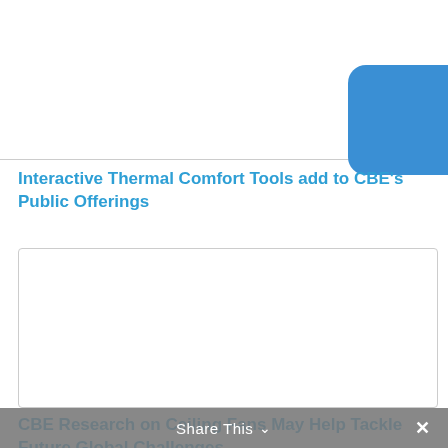[Figure (photo): Top article image with a blue rounded rectangle graphic visible in the top-right corner]
Interactive Thermal Comfort Tools add to CBE's Public Offerings
[Figure (photo): Second article image — large white/blank content area with a border]
CBE Research on Ceiling Fans May Help Tackle Future Global Challenges
Share This ∨  ×